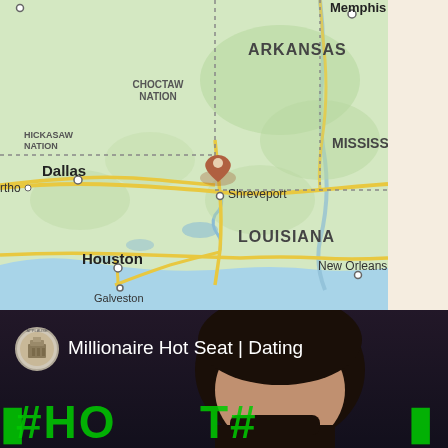[Figure (map): Google Maps showing the south-central United States region including Arkansas, Louisiana, Mississippi, Texas (Dallas, Houston, Galveston), Oklahoma (Choctaw Nation, Chickasaw Nation), and a location pin near Shreveport, Louisiana. Memphis is visible in the upper right. New Orleans is visible in the lower right.]
[Figure (screenshot): Video thumbnail for 'Millionaire Hot Seat | Dating' showing a dark background with a circular channel badge/logo on the left, video title text, a woman's face partially visible, and green LED-style '#HOT#' text across the bottom.]